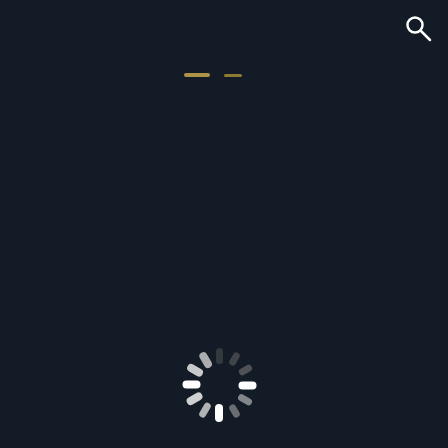[Figure (other): Search icon (magnifying glass) in white, positioned in the top-right corner of a dark background screen]
[Figure (other): Two small horizontal amber/golden dashes near the top center of the dark screen, resembling eyes or minimal UI elements]
[Figure (other): Loading spinner (circular spinner with white and gray segments) centered in the lower portion of the dark screen]